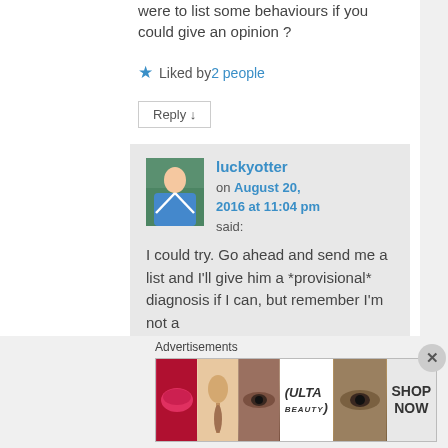were to list some behaviours if you could give an opinion ?
Liked by 2 people
Reply ↓
luckyotter on August 20, 2016 at 11:04 pm said:
I could try. Go ahead and send me a list and I'll give him a *provisional* diagnosis if I can, but remember I'm not a
Advertisements